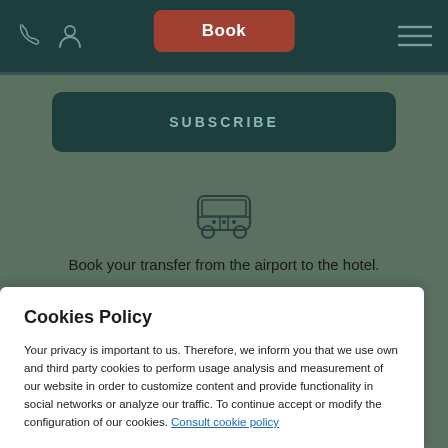[Figure (screenshot): Navigation bar with phone icon, user icon, red Book button, and hamburger menu on dark teal background]
[Figure (illustration): Dark teal Subscribe button on dark green background]
[Figure (illustration): Bus icon (outline) representing airport transfer service]
Book your transfer from the airport to the hotel.
[Figure (screenshot): Dark teal BOOK button]
Cookies Policy
Your privacy is important to us. Therefore, we inform you that we use own and third party cookies to perform usage analysis and measurement of our website in order to customize content and provide functionality in social networks or analyze our traffic. To continue accept or modify the configuration of our cookies. Consult cookie policy